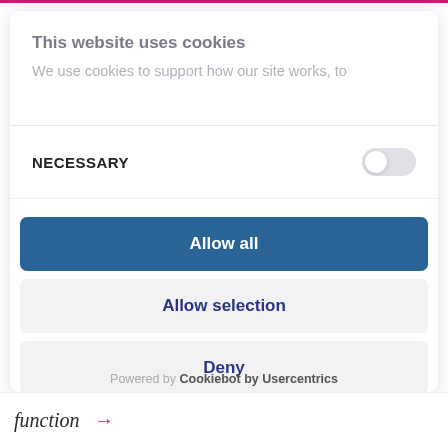This website uses cookies
We use cookies to support how our site works, to
NECESSARY
Allow all
Allow selection
Deny
Powered by Cookiebot by Usercentrics
function →